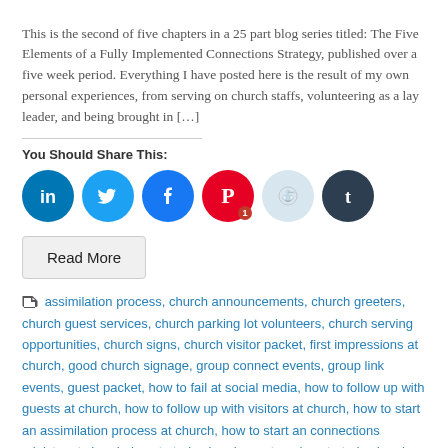This is the second of five chapters in a 25 part blog series titled: The Five Elements of a Fully Implemented Connections Strategy, published over a five week period. Everything I have posted here is the result of my own personal experiences, from serving on church staffs, volunteering as a lay leader, and being brought in […]
You Should Share This:
[Figure (other): Row of six circular social media share icons: LinkedIn (blue), Twitter (light blue), Facebook (blue), Pinterest (red, with badge showing '1'), Reddit (light blue-gray), Tumblr (dark navy)]
Read More
assimilation process, church announcements, church greeters, church guest services, church parking lot volunteers, church serving opportunities, church signs, church visitor packet, first impressions at church, good church signage, group connect events, group link events, guest packet, how to fail at social media, how to follow up with guests at church, how to follow up with visitors at church, how to start an assimilation process at church, how to start an connections ministry at church, how to train church greeters, how to train church parking lot team, how to use social media for your church, next steps at church, promote small groups, the church information desk, what do church greeters do, what should church greeters do?, what to give guests